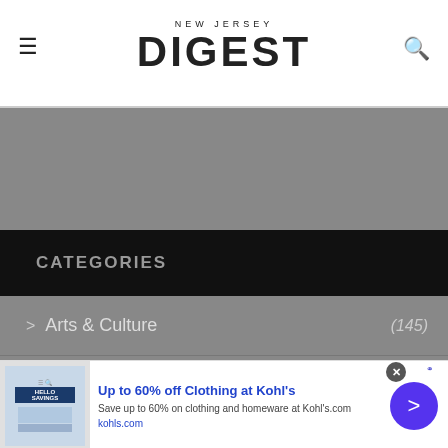NEW JERSEY DIGEST
CATEGORIES
> Arts & Culture (145)
> Astrology (47)
> Bars (42)
[Figure (screenshot): Advertisement banner: Up to 60% off Clothing at Kohl's. Save up to 60% on clothing and homeware at Kohl's.com. kohls.com]
Up to 60% off Clothing at Kohl's
Save up to 60% on clothing and homeware at Kohl's.com
kohls.com